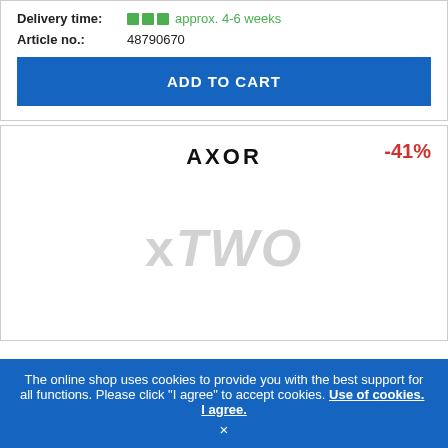Delivery time: approx. 4-6 weeks
Article no.: 48790670
ADD TO CART
[Figure (logo): AXOR brand logo in bold sans-serif uppercase letters]
-41%
[Figure (illustration): xTWO watermark placeholder image in light gray text]
The online shop uses cookies to provide you with the best support for all functions. Please click "I agree" to accept cookies. Use of cookies. I agree. ×